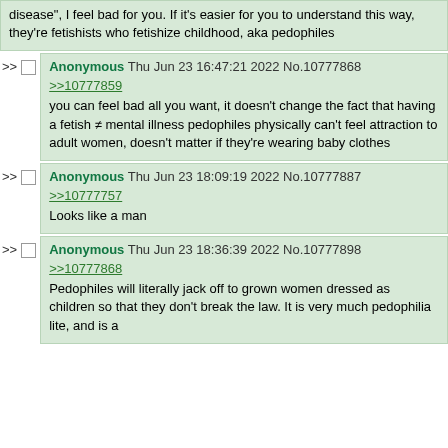disease", I feel bad for you. If it's easier for you to understand this way, they're fetishists who fetishize childhood, aka pedophiles
Anonymous Thu Jun 23 16:47:21 2022 No.10777868
>>10777859
you can feel bad all you want, it doesn't change the fact that having a fetish ≠ mental illness pedophiles physically can't feel attraction to adult women, doesn't matter if they're wearing baby clothes
Anonymous Thu Jun 23 18:09:19 2022 No.10777887
>>10777757
Looks like a man
Anonymous Thu Jun 23 18:36:39 2022 No.10777898
>>10777868
Pedophiles will literally jack off to grown women dressed as children so that they don't break the law. It is very much pedophilia lite, and is a